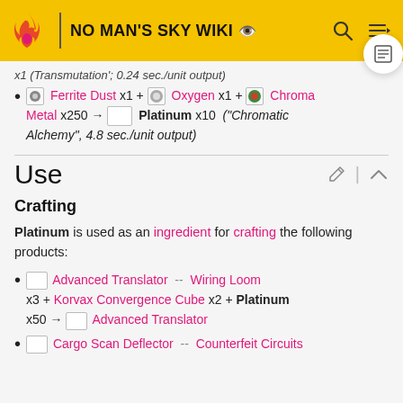NO MAN'S SKY WIKI
x1 ('Transmutation'; 0.24 sec./unit output)
Ferrite Dust x1 + Oxygen x1 + Chromatic Metal x250 → Platinum x10 ('Chromatic Alchemy', 4.8 sec./unit output)
Use
Crafting
Platinum is used as an ingredient for crafting the following products:
Advanced Translator -- Wiring Loom x3 + Korvax Convergence Cube x2 + Platinum x50 → Advanced Translator
Cargo Scan Deflector -- Counterfeit Circuits